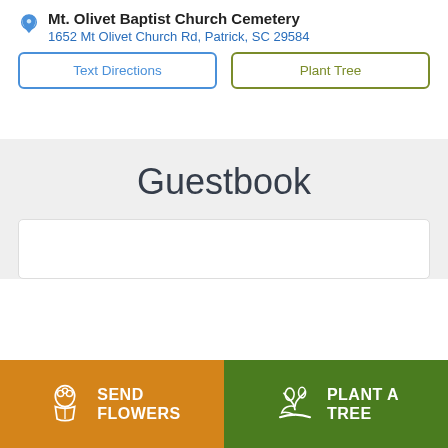Mt. Olivet Baptist Church Cemetery
1652 Mt Olivet Church Rd, Patrick, SC 29584
Text Directions
Plant Tree
Guestbook
SEND FLOWERS
PLANT A TREE